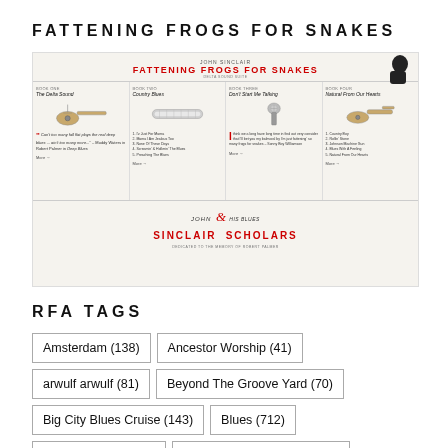FATTENING FROGS FOR SNAKES
[Figure (illustration): Album promotion image for John Sinclair 'Fattening Frogs for Snakes' - shows four book sections: The Delta Sound, Country Blues, Don't Start Me Talking, Natural From Our Hearts, with instrument illustrations (guitar, harmonica, microphone, electric guitar), quotes, and John Sinclair & His Blues Scholars branding at bottom]
RFA TAGS
Amsterdam (138)
Ancestor Worship (41)
arwulf arwulf (81)
Beyond The Groove Yard (70)
Big City Blues Cruise (143)
Blues (712)
Blues & Roots (118)
BluesTime International (49)